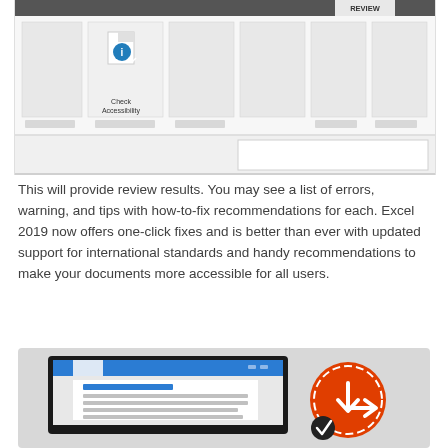[Figure (screenshot): Excel ribbon screenshot showing the Review tab with 'Check Accessibility' button highlighted, showing an icon of a document with a blue accessibility symbol. Below it shows a dropdown panel partially open.]
This will provide review results.  You may see a list of errors, warning, and tips with how-to-fix recommendations for each.  Excel 2019 now offers one-click fixes and is better than ever with updated support for international standards and handy recommendations to make your documents more accessible for all users.
[Figure (screenshot): Illustration showing a laptop/monitor with an Excel spreadsheet open displaying text content, and an orange circular icon with a clock/arrow symbol and a black checkmark badge, suggesting accessibility checking or auto-save functionality.]